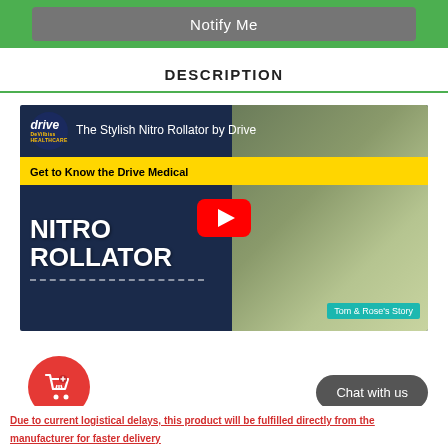Notify Me
DESCRIPTION
[Figure (screenshot): YouTube video thumbnail for 'The Stylish Nitro Rollator by Drive' video, featuring Drive/DeVilbiss logo, yellow banner reading 'Get to Know the Drive Medical', large white text 'NITRO ROLLATOR', a red YouTube play button, two people standing outdoors with a red rollator, and 'Tom & Rose's Story' caption.]
Chat with us
Due to current logistical delays, this product will be fulfilled directly from the manufacturer for faster delivery